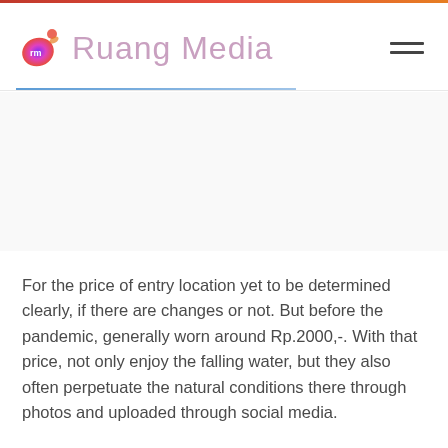Ruang Media
For the price of entry location yet to be determined clearly, if there are changes or not. But before the pandemic, generally worn around Rp.2000,-. With that price, not only enjoy the falling water, but they also often perpetuate the natural conditions there through photos and uploaded through social media.